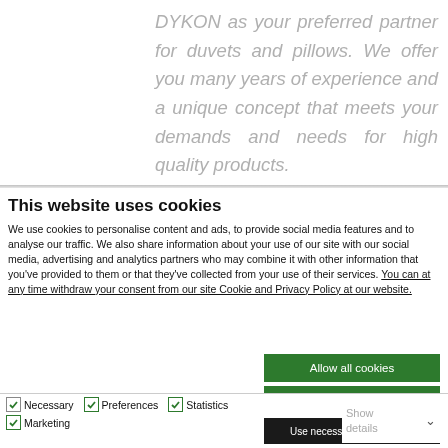DYKON as your preferred partner for duvets and pillows. We offer you many years of experience and a unique concept that meets your demands and needs for high quality products.
This website uses cookies
We use cookies to personalise content and ads, to provide social media features and to analyse our traffic. We also share information about your use of our site with our social media, advertising and analytics partners who may combine it with other information that you've provided to them or that they've collected from your use of their services. You can at any time withdraw your consent from our site Cookie and Privacy Policy at our website.
Allow all cookies
Allow selection
Use necessary cookies only
Necessary  Preferences  Statistics  Marketing  Show details